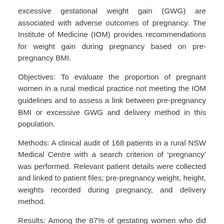excessive gestational weight gain (GWG) are associated with adverse outcomes of pregnancy. The Institute of Medicine (IOM) provides recommendations for weight gain during pregnancy based on pre-pregnancy BMI.
Objectives: To evaluate the proportion of pregnant women in a rural medical practice not meeting the IOM guidelines and to assess a link between pre-pregnancy BMI or excessive GWG and delivery method in this population.
Methods: A clinical audit of 168 patients in a rural NSW Medical Centre with a search criterion of ‘pregnancy’ was performed. Relevant patient details were collected and linked to patient files; pre-pregnancy weight, height, weights recorded during pregnancy, and delivery method.
Results: Among the 87% of gestating women who did not meet the current GWG recommendations, 57% gained weight excessively and 30% inadequately. There was a statistically significant association between pre-